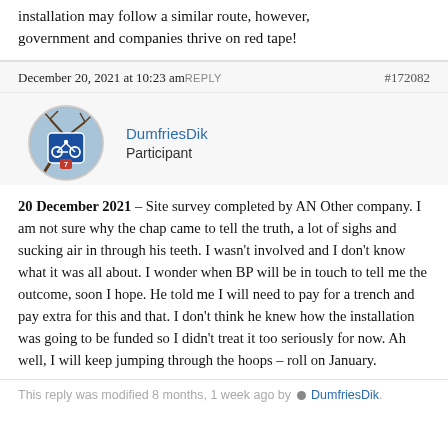installation may follow a similar route, however, government and companies thrive on red tape!
December 20, 2021 at 10:23 am REPLY #172082
[Figure (photo): Circular avatar image showing a blue cycling route sign with a bicycle icon and number 7, set against a background of bare tree branches.]
DumfriesDik
Participant
20 December 2021 – Site survey completed by AN Other company. I am not sure why the chap came to tell the truth, a lot of sighs and sucking air in through his teeth. I wasn't involved and I don't know what it was all about. I wonder when BP will be in touch to tell me the outcome, soon I hope. He told me I will need to pay for a trench and pay extra for this and that. I don't think he knew how the installation was going to be funded so I didn't treat it too seriously for now. Ah well, I will keep jumping through the hoops – roll on January.
This reply was modified 8 months, 1 week ago by DumfriesDik.